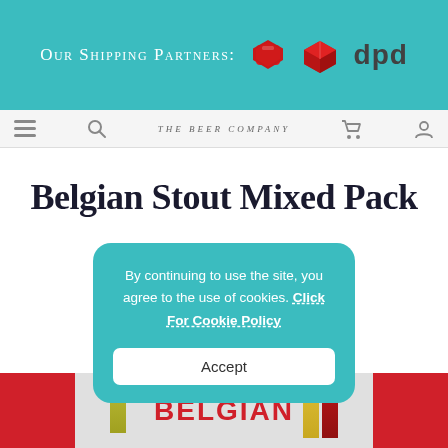[Figure (other): Teal/turquoise banner showing 'Our Shipping Partners:' text with DPD logo (red box icon and 'dpd' text in dark grey)]
Our Shipping Partners: dpd
[Figure (screenshot): Website navigation bar with hamburger icon, search icon, company logo, cart icon, and user icon on light background]
Belgian Stout Mixed Pack
By continuing to use the site, you agree to the use of cookies. Click For Cookie Policy
[Figure (photo): Product photo showing Belgian beer bottles with red and yellow/green coloring and 'BELGIAN' text label at bottom]